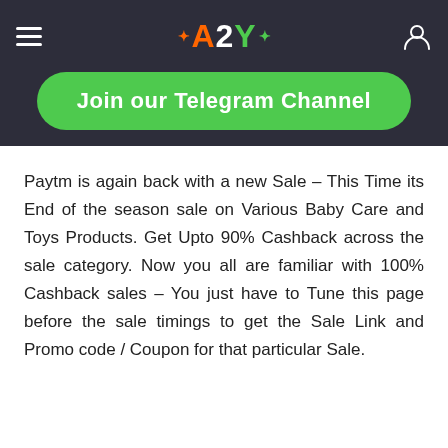A2Y navigation bar with hamburger menu, A2Y logo, and user icon
[Figure (other): Green rounded button with text 'Join our Telegram Channel' on dark background]
Paytm is again back with a new Sale – This Time its End of the season sale on Various Baby Care and Toys Products. Get Upto 90% Cashback across the sale category. Now you all are familiar with 100% Cashback sales – You just have to Tune this page before the sale timings to get the Sale Link and Promo code / Coupon for that particular Sale.